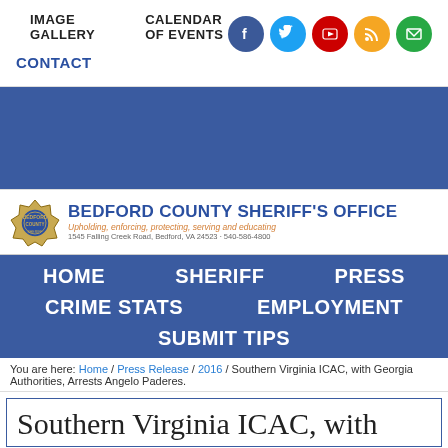IMAGE GALLERY    CALENDAR OF EVENTS    CONTACT
[Figure (screenshot): Blue banner area with Bedford County Sheriff's Office logo and navigation]
[Figure (logo): Bedford County Sheriff's Office logo with star badge. Tagline: Upholding, enforcing, protecting, serving and educating. Address: 1545 Falling Creek Road, Bedford, VA 24523 - 540-586-4800]
HOME   SHERIFF   PRESS   CRIME STATS   EMPLOYMENT   SUBMIT TIPS
You are here: Home / Press Release / 2016 / Southern Virginia ICAC, with Georgia Authorities, Arrests Angelo Paderes.
Southern Virginia ICAC, with